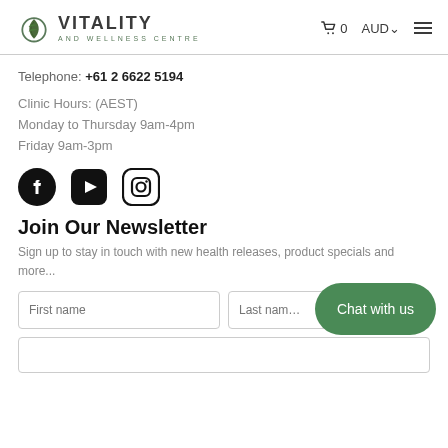VITALITY AND WELLNESS CENTRE — cart 0, AUD, menu
Telephone: +61 2 6622 5194
Clinic Hours: (AEST)
Monday to Thursday 9am-4pm
Friday 9am-3pm
[Figure (logo): Social media icons: Facebook, YouTube, Instagram]
Join Our Newsletter
Sign up to stay in touch with new health releases, product specials and more...
[Figure (screenshot): Newsletter signup form with First name and Last name fields, and a green Chat with us button overlay]